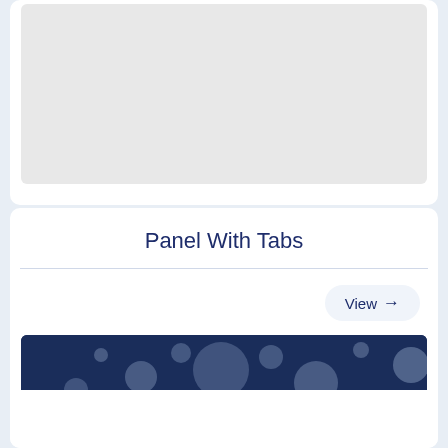[Figure (screenshot): Light gray preview box placeholder at the top of a UI card]
Panel With Tabs
View →
[Figure (screenshot): Dark navy blue landing page template preview with floating circles and text: A Clean & Minimal Landing Template. Subtitle: Ut enim ad minima veniam quis nostrum exercitationem ullam corporis ut suscipit laboriosam nisi ut aliquid a commodi consequatur Quis autem.]